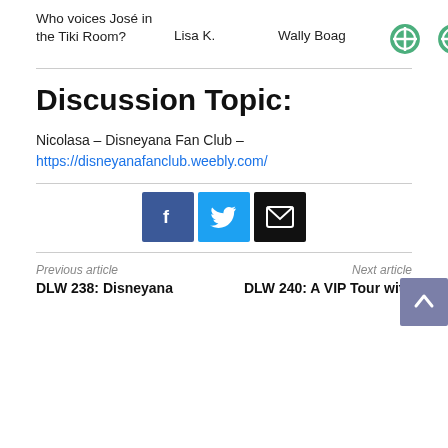| Question | Answer 1 | Answer 2 | Icons |
| --- | --- | --- | --- |
| Who voices José in the Tiki Room? | Lisa K. | Wally Boag | ⊕ ⊕ |
Discussion Topic:
Nicolasa – Disneyana Fan Club – https://disneyanafanclub.weebly.com/
[Figure (infographic): Social share buttons: Facebook (blue), Twitter (light blue), Email (black)]
Previous article
Next article
DLW 238: Disneyana
DLW 240: A VIP Tour with